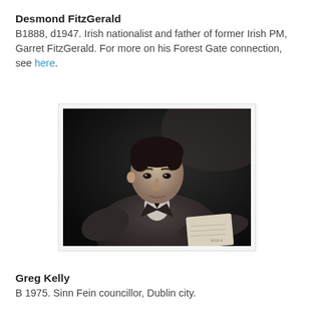Desmond FitzGerald
B1888, d1947. Irish nationalist and father of former Irish PM, Garret FitzGerald. For more on his Forest Gate connection, see here.
[Figure (photo): Black and white portrait photograph of Desmond FitzGerald, a young man in a suit, seated at a desk holding papers, looking to the side.]
Greg Kelly
B 1975. Sinn Fein councillor, Dublin city.